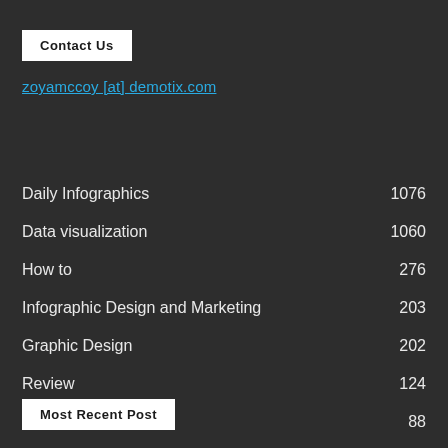Contact Us
zoyamccoy [at] demotix.com
Daily Infographics 1076
Data visualization 1060
How to 276
Infographic Design and Marketing 203
Graphic Design 202
Review 124
Home 88
Most Recent Post